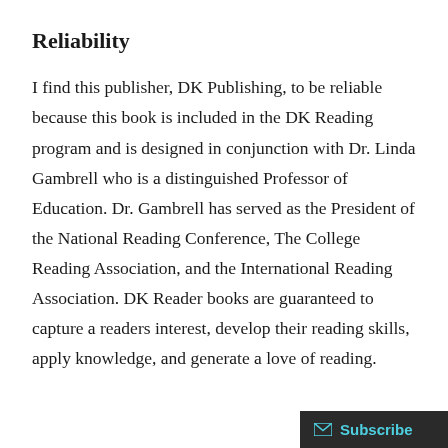Reliability
I find this publisher, DK Publishing, to be reliable because this book is included in the DK Reading program and is designed in conjunction with Dr. Linda Gambrell who is a distinguished Professor of Education. Dr. Gambrell has served as the President of the National Reading Conference, The College Reading Association, and the International Reading Association. DK Reader books are guaranteed to capture a readers interest, develop their reading skills, apply knowledge, and generate a love of reading.